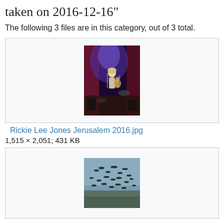taken on 2016-12-16"
The following 3 files are in this category, out of 3 total.
[Figure (photo): Concert photo of Rickie Lee Jones performing on stage with a guitar, in front of blue and purple stage lighting, with drums and bass visible behind her.]
Rickie Lee Jones Jerusalem 2016.jpg
1,515 × 2,051; 431 KB
[Figure (photo): Flock of birds (likely storks or herons) in flight over a field.]